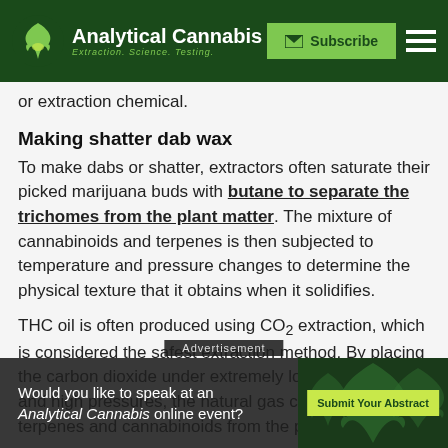Analytical Cannabis — Extraction. Science. Testing. | Subscribe
or extraction chemical.
Making shatter dab wax
To make dabs or shatter, extractors often saturate their picked marijuana buds with butane to separate the trichomes from the plant matter. The mixture of cannabinoids and terpenes is then subjected to temperature and pressure changes to determine the physical texture that it obtains when it solidifies.
THC oil is often produced using CO₂ extraction, which is considered the safest extraction method. By placing the carbon dioxide under extremely low temperatures and high pressures, the natural gas can strip the terpenes and cannabinoids from the plant's trichomes.
The re... cartridges for convenient, odorless, and discreet
Advertisement — Would you like to speak at an Analytical Cannabis online event? | Submit Your Abstract